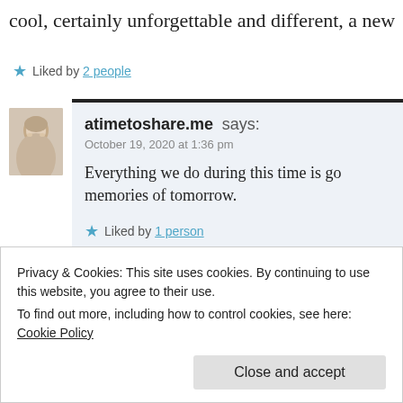cool, certainly unforgettable and different, a new
Liked by 2 people
atimetoshare.me says:
October 19, 2020 at 1:36 pm
Everything we do during this time is go... memories of tomorrow.
Liked by 1 person
Privacy & Cookies: This site uses cookies. By continuing to use this website, you agree to their use.
To find out more, including how to control cookies, see here: Cookie Policy